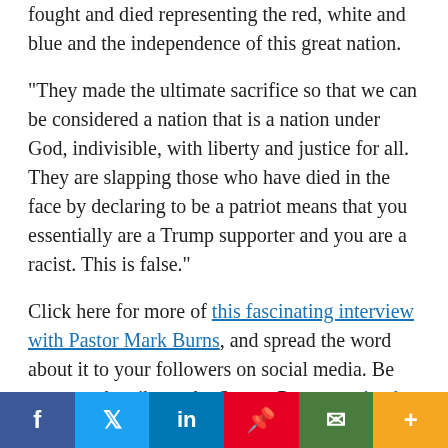fought and died representing the red, white and blue and the independence of this great nation.
“They made the ultimate sacrifice so that we can be considered a nation that is a nation under God, indivisible, with liberty and justice for all. They are slapping those who have died in the face by declaring to be a patriot means that you essentially are a Trump supporter and you are a racist. This is false.”
Click here for more of this fascinating interview with Pastor Mark Burns, and spread the word about it to your followers on social media. Be sure to subscribe to the Strang Report on Apple Podcasts or your favorite podcast platform for more podcasts to inspire you to experience the power of the Holy Spirit.